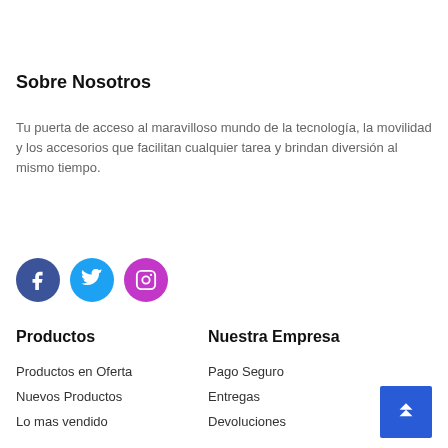Sobre Nosotros
Tu puerta de acceso al maravilloso mundo de la tecnología, la movilidad y los accesorios que facilitan cualquier tarea y brindan diversión al mismo tiempo.
[Figure (illustration): Three social media icon circles: Facebook (dark blue), Twitter (cyan), Instagram (purple/magenta)]
Productos
Nuestra Empresa
Productos en Oferta
Nuevos Productos
Lo mas vendido
Pago Seguro
Entregas
Devoluciones